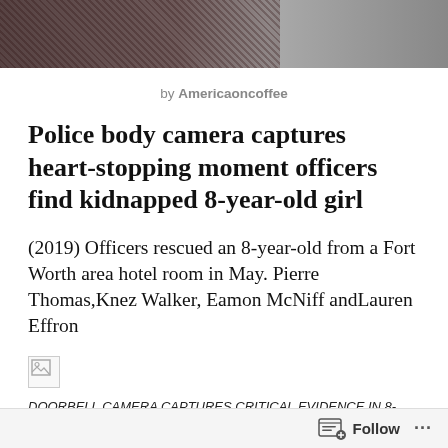[Figure (photo): Top banner image showing dark textured background, appears to be coffee beans or similar dark material on the left, lighter gray area on the right]
by Americaoncoffee
Police body camera captures heart-stopping moment officers find kidnapped 8-year-old girl
(2019) Officers rescued an 8-year-old from a Fort Worth area hotel room in May. Pierre Thomas,Knez Walker, Eamon McNiff andLauren Effron
[Figure (photo): Broken/missing image placeholder (small icon)]
DOORBELL CAMERA CAPTURES CRITICAL EVIDENCE IN 8-YEAR-OLD GIRL'S KIDNAPPING: PART 1
Follow